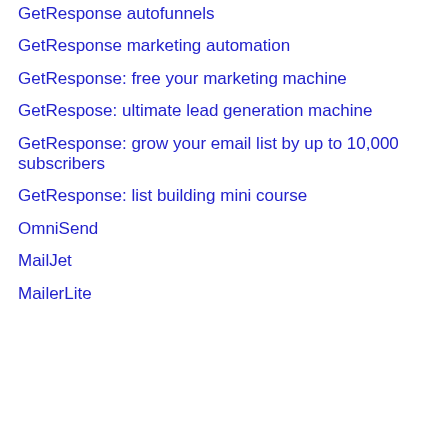GetResponse autofunnels
GetResponse marketing automation
GetResponse: free your marketing machine
GetRespose: ultimate lead generation machine
GetResponse: grow your email list by up to 10,000 subscribers
GetResponse: list building mini course
OmniSend
MailJet
MailerLite